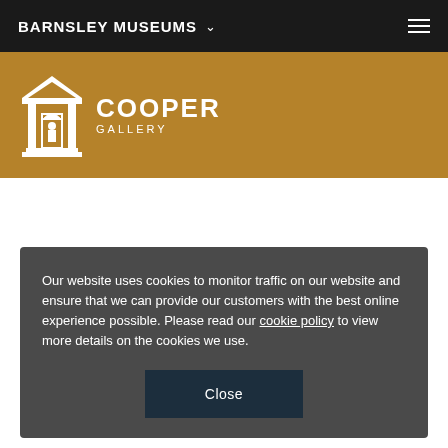BARNSLEY MUSEUMS
[Figure (logo): Cooper Gallery logo with building icon and text 'COOPER GALLERY' on a gold background]
Our website uses cookies to monitor traffic on our website and ensure that we can provide our customers with the best online experience possible. Please read our cookie policy to view more details on the cookies we use.
Close